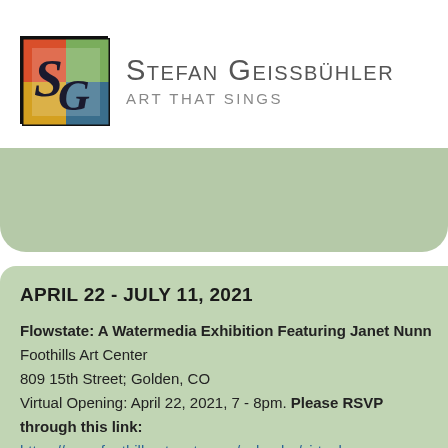[Figure (logo): Stefan Geissbühler logo — colorful square with SG initials in artistic style]
Stefan Geissbühler
Art That Sings
[Figure (other): Sage green decorative banner/card element]
APRIL 22 - JULY 11, 2021
Flowstate: A Watermedia Exhibition Featuring Janet Nunn
Foothills Art Center
809 15th Street; Golden, CO
Virtual Opening: April 22, 2021, 7 - 8pm. Please RSVP through this link:
https://www.foothillsartcenter.org/calendar/virtual-